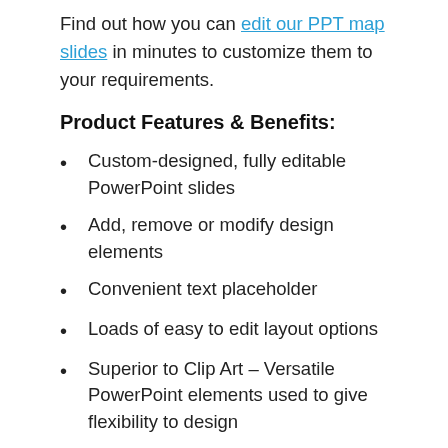Find out how you can edit our PPT map slides in minutes to customize them to your requirements.
Product Features & Benefits:
Custom-designed, fully editable PowerPoint slides
Add, remove or modify design elements
Convenient text placeholder
Loads of easy to edit layout options
Superior to Clip Art – Versatile PowerPoint elements used to give flexibility to design
Download any PowerPoint Slide product from 24point0 knowing there is a professional support team